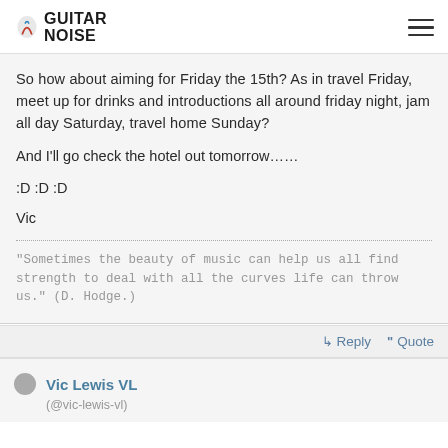Guitar Noise
So how about aiming for Friday the 15th? As in travel Friday, meet up for drinks and introductions all around friday night, jam all day Saturday, travel home Sunday?

And I'll go check the hotel out tomorrow……

:D :D :D

Vic
"Sometimes the beauty of music can help us all find strength to deal with all the curves life can throw us." (D. Hodge.)
↳ Reply  ❝ Quote
Vic Lewis VL
(@vic-lewis-vl)